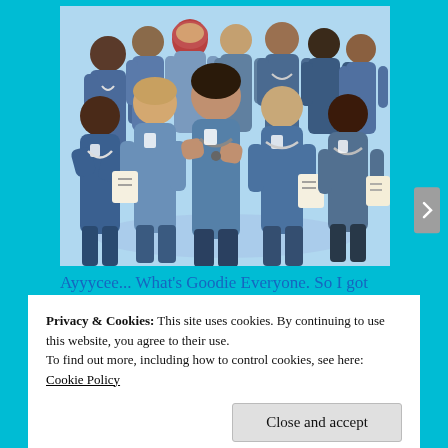[Figure (illustration): Illustration of a group of healthcare workers/nurses in blue scrubs, some with stethoscopes, clipboards, standing together as a team. Silhouettes of various skin tones on a light blue background with a shadow ellipse beneath them.]
Ayyycee... What's Goodie Everyone. So I got some tea and
Privacy & Cookies: This site uses cookies. By continuing to use this website, you agree to their use.
To find out more, including how to control cookies, see here: Cookie Policy
Close and accept